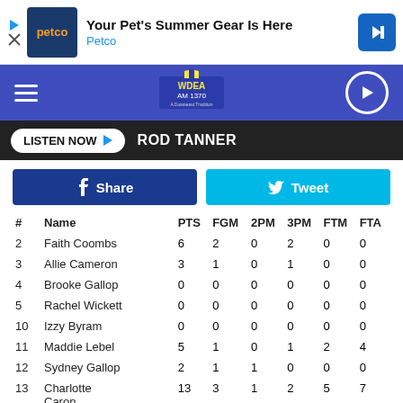[Figure (screenshot): Petco advertisement banner: Petco logo, 'Your Pet's Summer Gear Is Here', 'Petco' in blue text, navigation arrow icon]
[Figure (logo): WDEA AM 1370 radio station logo on blue navigation bar with hamburger menu and play button]
LISTEN NOW ▶   ROD TANNER
f Share   🐦 Tweet
| # | Name | PTS | FGM | 2PM | 3PM | FTM | FTA |
| --- | --- | --- | --- | --- | --- | --- | --- |
| 2 | Faith Coombs | 6 | 2 | 0 | 2 | 0 | 0 |
| 3 | Allie Cameron | 3 | 1 | 0 | 1 | 0 | 0 |
| 4 | Brooke Gallop | 0 | 0 | 0 | 0 | 0 | 0 |
| 5 | Rachel Wickett | 0 | 0 | 0 | 0 | 0 | 0 |
| 10 | Izzy Byram | 0 | 0 | 0 | 0 | 0 | 0 |
| 11 | Maddie Lebel | 5 | 1 | 0 | 1 | 2 | 4 |
| 12 | Sydney Gallop | 2 | 1 | 1 | 0 | 0 | 0 |
| 13 | Charlotte Caron | 13 | 3 | 1 | 2 | 5 | 7 |